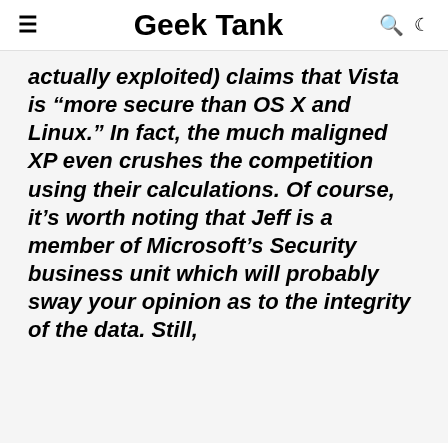Geek Tank
actually exploited) claims that Vista is “more secure than OS X and Linux.” In fact, the much maligned XP even crushes the competition using their calculations. Of course, it’s worth noting that Jeff is a member of Microsoft’s Security business unit which will probably sway your opinion as to the integrity of the data. Still,